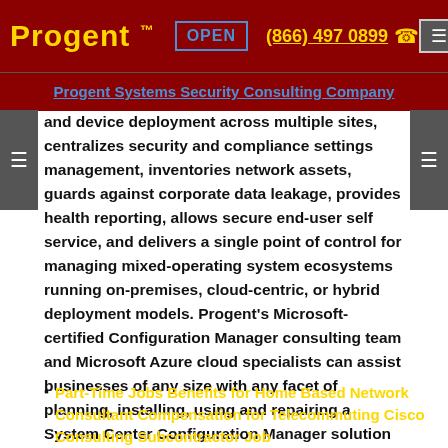Progent ™  OPEN  (866) 497 0899  ☎
Progent Systems Security Consulting Company
and device deployment across multiple sites, centralizes security and compliance settings management, inventories network assets, guards against corporate data leakage, provides health reporting, allows secure end-user self service, and delivers a single point of control for managing mixed-operating system ecosystems running on-premises, cloud-centric, or hybrid deployment models. Progent's Microsoft-certified Configuration Manager consulting team and Microsoft Azure cloud specialists can assist businesses of any size with any facet of planning, installing, using and repairing a System Center Configuration Manager solution for local, cloud-based, or hybrid networks.
Part-Time Jobs Benefits for Home Based Network Consultant Compensation for Telecommuting Cisco Consulting Subcontractor Job